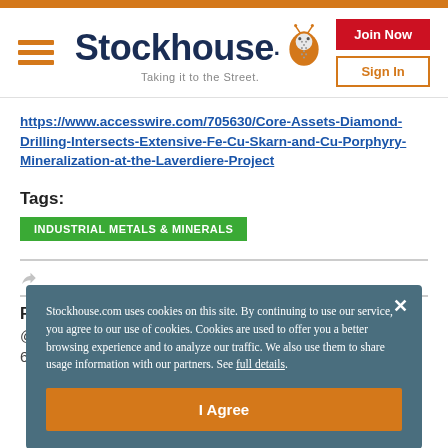Stockhouse – Taking it to the Street.
https://www.accesswire.com/705630/Core-Assets-Diamond-Drilling-Intersects-Extensive-Fe-Cu-Skarn-and-Cu-Porphyry-Mineralization-at-the-Laverdiere-Project
Tags:
INDUSTRIAL METALS & MINERALS
Related
@
6
Stockhouse.com uses cookies on this site. By continuing to use our service, you agree to our use of cookies. Cookies are used to offer you a better browsing experience and to analyze our traffic. We also use them to share usage information with our partners. See full details.
I Agree